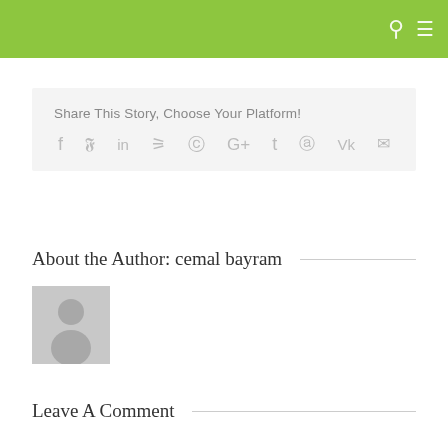Share This Story, Choose Your Platform!
[Figure (other): Social media sharing icons: Facebook, Twitter, LinkedIn, Reddit, WhatsApp, Google+, Tumblr, Pinterest, VK, Email]
About the Author: cemal bayram
[Figure (photo): Generic grey avatar/profile placeholder image with silhouette of a person]
Leave A Comment